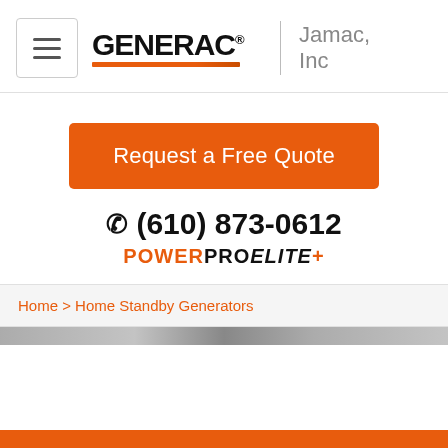[Figure (logo): Generac logo with hamburger menu button and Jamac, Inc company name in header navigation bar]
[Figure (screenshot): Orange 'Request a Free Quote' button]
☎ (610) 873-0612
POWERPRO ELITE+
Home > Home Standby Generators
[Figure (photo): Partial image strip visible at bottom of breadcrumb section]